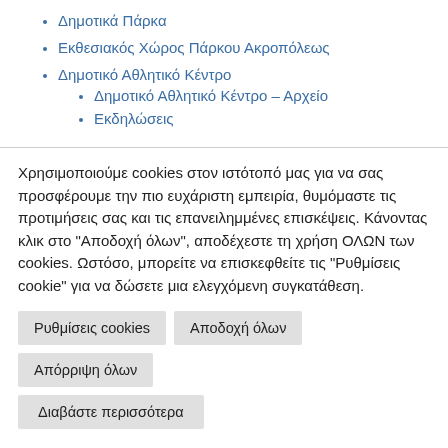Δημοτικά Πάρκα
Εκθεσιακός Χώρος Πάρκου Ακροπόλεως
Δημοτικό Αθλητικό Κέντρο
Δημοτικό Αθλητικό Κέντρο – Αρχείο
Εκδηλώσεις
Χρησιμοποιούμε cookies στον ιστότοπό μας για να σας προσφέρουμε την πιο ευχάριστη εμπειρία, θυμόμαστε τις προτιμήσεις σας και τις επανειλημμένες επισκέψεις. Κάνοντας κλικ στο "Αποδοχή όλων", αποδέχεστε τη χρήση ΟΛΩΝ των cookies. Ωστόσο, μπορείτε να επισκεφθείτε τις "Ρυθμίσεις cookie" για να δώσετε μια ελεγχόμενη συγκατάθεση.
Ρυθμίσεις cookies
Αποδοχή όλων
Απόρριψη όλων
Διαβάστε περισσότερα